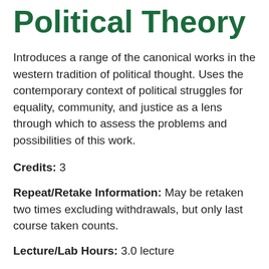Introduction to Political Theory
Introduces a range of the canonical works in the western tradition of political thought. Uses the contemporary context of political struggles for equality, community, and justice as a lens through which to assess the problems and possibilities of this work.
Credits: 3
Repeat/Retake Information: May be retaken two times excluding withdrawals, but only last course taken counts.
Lecture/Lab Hours: 3.0 lecture
Grades: Eligible Grades: A-EWRWEWN EN AU